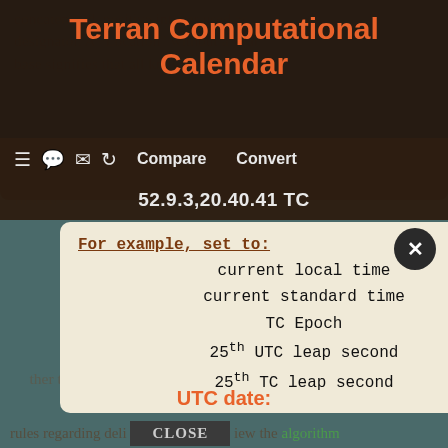Terran Computational Calendar
52.9.3,20.40.41 TC
For example, set to:
current local time
current standard time
TC Epoch
25th UTC leap second
25th TC leap second
Terran Computational date:
42 ? . 3 ? . 5 ? , 5 ? . 14 ? . 0 ? TC
[year base] ? [datemod] ?
UTC date:
rules regarding deli  iew the algorithm